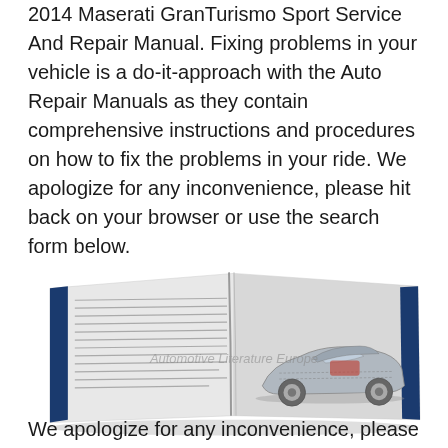2014 Maserati GranTurismo Sport Service And Repair Manual. Fixing problems in your vehicle is a do-it-approach with the Auto Repair Manuals as they contain comprehensive instructions and procedures on how to fix the problems in your ride. We apologize for any inconvenience, please hit back on your browser or use the search form below.
[Figure (photo): Open automotive service manual showing text on left page and a cutaway/technical illustration of a Maserati GranTurismo on the right page. The book has dark blue spine accents. A watermark reading 'Automotive Literature Europe' is overlaid on the image.]
We apologize for any inconvenience, please hit